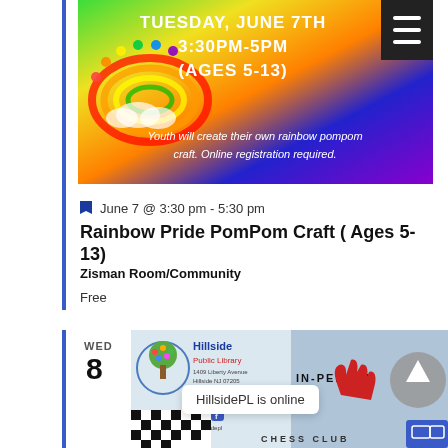[Figure (photo): Rainbow Pride PomPom Craft event banner with rainbow gradient background (green, yellow, orange, blue, purple). Shows a rainbow cloud pompom graphic. Text: TUESDAY, JUNE 7TH 3:30PM-5PM (AGES 5-13). Youth will create their own rainbow pompom craft. Online registration required.]
June 7 @ 3:30 pm - 5:30 pm
Rainbow Pride PomPom Craft ( Ages 5-13)
Zisman Room/Community
Free
WED 8
[Figure (photo): Hillside Public Library Chess Club event banner. Shows Hillside Public Library logo with tree graphic, address 1409 Liberty Avenue, Hillside NJ 07205, 973-923-4483, www.hillsidepl.org, @hillsidepl social icons. Text: IN-PERSON. Chess board visible at bottom. Red hand graphic. HillsidePL is online popup box visible.]
HillsidePL is online
CHESS CLUB